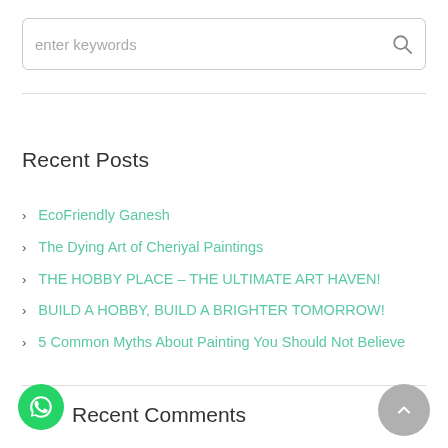enter keywords
Recent Posts
EcoFriendly Ganesh
The Dying Art of Cheriyal Paintings
THE HOBBY PLACE – THE ULTIMATE ART HAVEN!
BUILD A HOBBY, BUILD A BRIGHTER TOMORROW!
5 Common Myths About Painting You Should Not Believe
Recent Comments